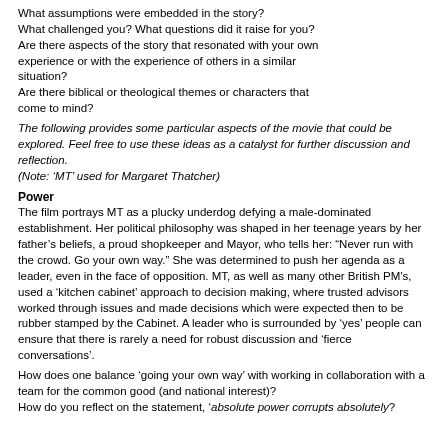What assumptions were embedded in the story?
What challenged you? What questions did it raise for you?
Are there aspects of the story that resonated with your own experience or with the experience of others in a similar situation?
Are there biblical or theological themes or characters that come to mind?
The following provides some particular aspects of the movie that could be explored. Feel free to use these ideas as a catalyst for further discussion and reflection.
(Note: ‘MT’ used for Margaret Thatcher)
Power
The film portrays MT as a plucky underdog defying a male-dominated establishment. Her political philosophy was shaped in her teenage years by her father’s beliefs, a proud shopkeeper and Mayor, who tells her: “Never run with the crowd. Go your own way.” She was determined to push her agenda as a leader, even in the face of opposition. MT, as well as many other British PM’s, used a ‘kitchen cabinet’ approach to decision making, where trusted advisors worked through issues and made decisions which were expected then to be rubber stamped by the Cabinet. A leader who is surrounded by ‘yes’ people can ensure that there is rarely a need for robust discussion and ‘fierce conversations’.
How does one balance ‘going your own way’ with working in collaboration with a team for the common good (and national interest)?
How do you reflect on the statement, ‘absolute power corrupts absolutely?